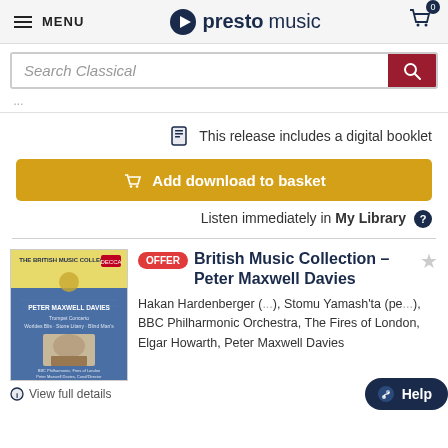MENU | prestomusic | Cart (0)
Search Classical
This release includes a digital booklet
Add download to basket
Listen immediately in My Library
[Figure (illustration): Album cover for British Music Collection - Peter Maxwell Davies, yellow and blue design with portrait photo]
British Music Collection – Peter Maxwell Davies
Hakan Hardenberger (...), Stomu Yamash'ta (pe...), BBC Philharmonic Orchestra, The Fires of London, Elgar Howarth, Peter Maxwell Davies
View full details